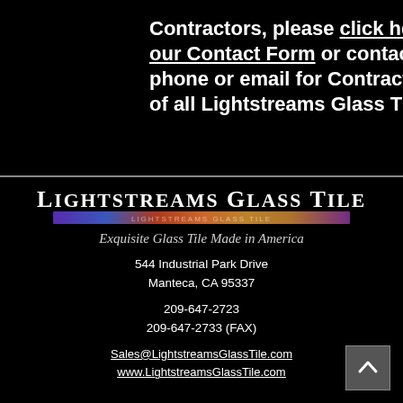Contractors, please click here to fill out our Contact Form or contact us by phone or email for Contractor pricing of all Lightstreams Glass Tile products.
[Figure (logo): Lightstreams Glass Tile logo with rainbow gradient bar beneath the text and italic tagline 'Exquisite Glass Tile Made in America']
544 Industrial Park Drive
Manteca, CA 95337
209-647-2723
209-647-2733 (FAX)
Sales@LightstreamsGlassTile.com
www.LightstreamsGlassTile.com